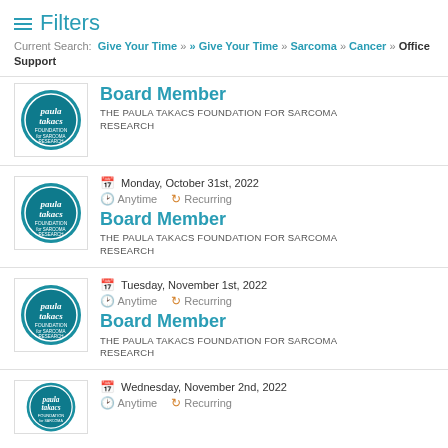Filters — Current Search: Give Your Time » » Give Your Time » Sarcoma » Cancer » Office Support
Board Member — THE PAULA TAKACS FOUNDATION FOR SARCOMA RESEARCH (no date shown, partial)
Monday, October 31st, 2022 — Anytime — Recurring — Board Member — THE PAULA TAKACS FOUNDATION FOR SARCOMA RESEARCH
Tuesday, November 1st, 2022 — Anytime — Recurring — Board Member — THE PAULA TAKACS FOUNDATION FOR SARCOMA RESEARCH
Wednesday, November 2nd, 2022 — Anytime — Recurring (partial)